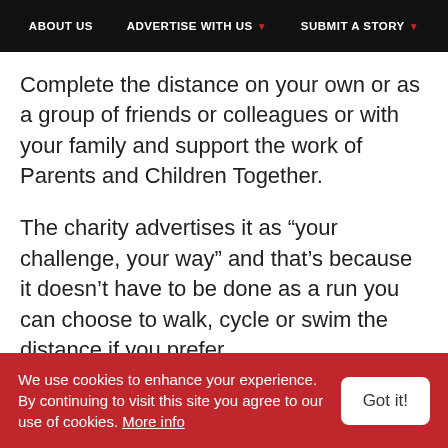ABOUT US | ADVERTISE WITH US | SUBMIT A STORY
Complete the distance on your own or as a group of friends or colleagues or with your family and support the work of Parents and Children Together.
The charity advertises it as “your challenge, your way” and that’s because it doesn’t have to be done as a run you can choose to walk, cycle or swim the distance if you prefer.
Why not walk a mile every day for 26 days in May – yes it doesn’t have to be all in one day –  or how
We use cookies to enhance your experience. By continuing to visit this site you agree to our use of cookies. More info